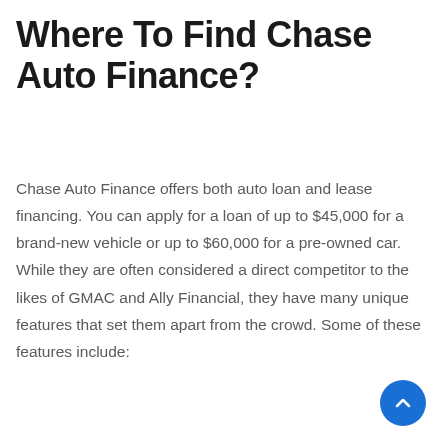Where To Find Chase Auto Finance?
Chase Auto Finance offers both auto loan and lease financing. You can apply for a loan of up to $45,000 for a brand-new vehicle or up to $60,000 for a pre-owned car. While they are often considered a direct competitor to the likes of GMAC and Ally Financial, they have many unique features that set them apart from the crowd. Some of these features include: